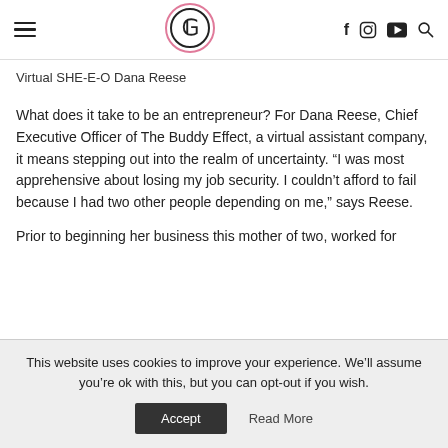Navigation bar with hamburger menu, circular logo, and social icons (f, Instagram, YouTube, search)
Virtual SHE-E-O Dana Reese
What does it take to be an entrepreneur? For Dana Reese, Chief Executive Officer of The Buddy Effect, a virtual assistant company, it means stepping out into the realm of uncertainty. “I was most apprehensive about losing my job security. I couldn’t afford to fail because I had two other people depending on me,” says Reese.
Prior to beginning her business this mother of two, worked for
This website uses cookies to improve your experience. We’ll assume you’re ok with this, but you can opt-out if you wish.
Accept Read More